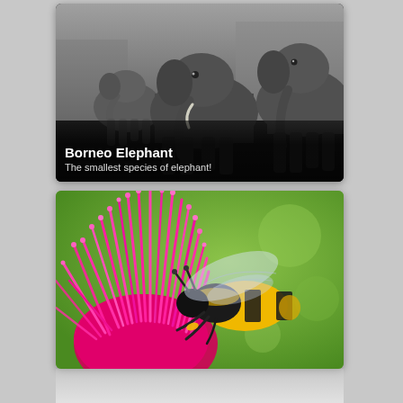[Figure (photo): A group of Borneo elephants (gray, large) photographed from ground level walking toward the camera, black-and-white/desaturated tones. Overlaid text reads 'Borneo Elephant' (bold white) and 'The smallest species of elephant!' in a semi-transparent dark banner at the bottom of the image card.]
[Figure (photo): A close-up macro photograph of a bumblebee (yellow and black, with translucent wings visible) sitting on a bright magenta/pink thistle flower, with a blurred green background.]